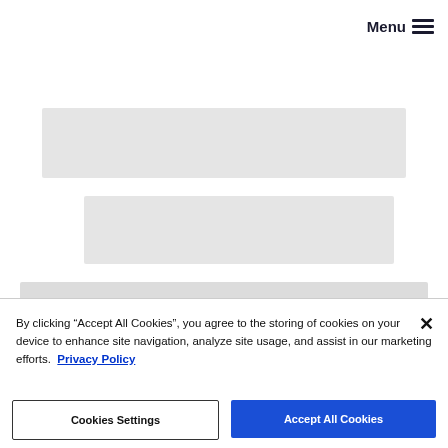Menu
[Figure (other): Gray placeholder bar 1 (loading skeleton)]
[Figure (other): Gray placeholder bar 2 (loading skeleton)]
[Figure (other): Gray placeholder bar 3 (loading skeleton)]
By clicking “Accept All Cookies”, you agree to the storing of cookies on your device to enhance site navigation, analyze site usage, and assist in our marketing efforts. Privacy Policy
Cookies Settings
Accept All Cookies